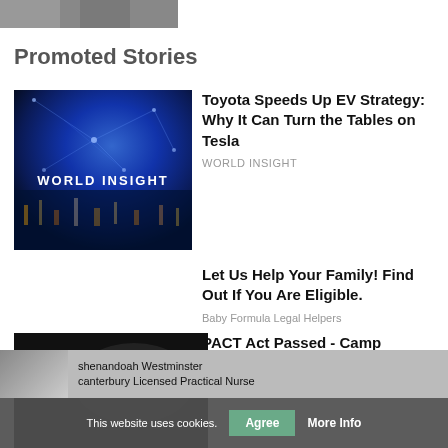[Figure (photo): Partial top image strip, cropped at top of page]
Promoted Stories
[Figure (photo): WORLD INSIGHT branded image with blue network/city lights background]
Toyota Speeds Up EV Strategy: Why It Can Turn the Tables on Tesla
WORLD INSIGHT
Let Us Help Your Family! Find Out If You Are Eligible.
Baby Formula Legal Helpers
[Figure (photo): Camp Lejeune Toxic Water Lawsuit dark image with red text branding]
PACT Act Passed - Camp Lejeune Justice Now Available
TruLaw
shenandoah Westminster
canterbury Licensed Practical Nurse
This website uses cookies.  Agree  More Info